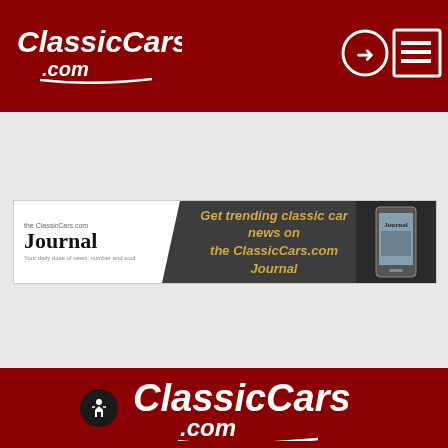ClassicCars.com header navigation bar
[Figure (logo): ClassicCars.com logo in white italic script on dark red header bar, with login icon (circle with arrow) and menu icon (hamburger lines) on right]
[Figure (infographic): Banner advertisement for ClassicCars.com Journal. Left white section shows Journal logo. Right dark section says 'Get trending classic car news on the ClassicCars.com Journal' with image of phone showing Journal app.]
[Figure (logo): ClassicCars.com large white italic script logo on dark red footer background, with accessibility wheelchair icon on the left]